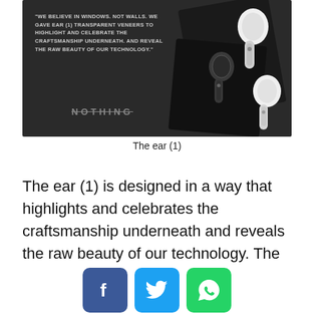[Figure (photo): Dark background product photo of Nothing ear (1) transparent wireless earbuds with quote text: 'WE BELIEVE IN WINDOWS. NOT WALLS. WE GAVE EAR (1) TRANSPARENT VENEERS TO HIGHLIGHT AND CELEBRATE THE CRAFTSMANSHIP UNDERNEATH. AND REVEAL THE RAW BEAUTY OF OUR TECHNOLOGY.' and the NOTHING brand name in strikethrough style.]
The ear (1)
The ear (1) is designed in a way that highlights and celebrates the craftsmanship underneath and reveals the raw beauty of our technology. The yet-to-be-launched phone (1) also seems to follow the same belief with its transparent back and surfacing